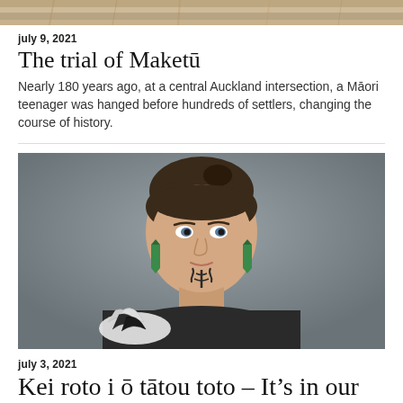[Figure (photo): Partial top image showing wooden or woven texture, cropped]
july 9, 2021
The trial of Maketū
Nearly 180 years ago, at a central Auckland intersection, a Māori teenager was hanged before hundreds of settlers, changing the course of history.
[Figure (photo): Portrait photograph of a woman with tā moko (traditional Māori chin tattoo) wearing green pounamu earrings and holding a feathered object, against a grey background]
july 3, 2021
Kei roto i ō tātou toto – It's in our Blood